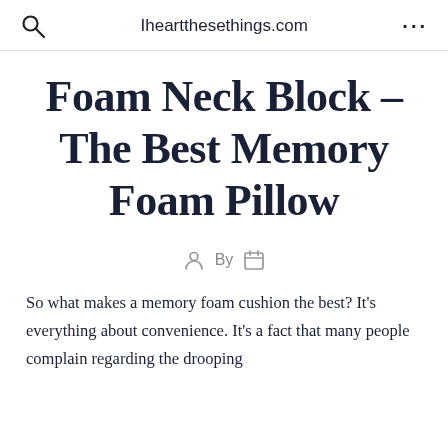Iheartthesethings.com
Foam Neck Block – The Best Memory Foam Pillow
By
So what makes a memory foam cushion the best? It's everything about convenience. It's a fact that many people complain regarding the drooping